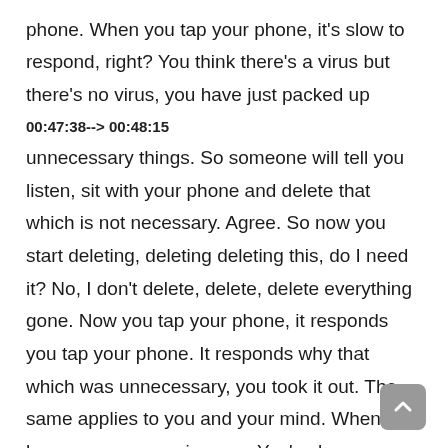phone. When you tap your phone, it's slow to respond, right? You think there's a virus but there's no virus, you have just packed up
00:47:38--> 00:48:15
unnecessary things. So someone will tell you listen, sit with your phone and delete that which is not necessary. Agree. So now you start deleting, deleting deleting this, do I need it? No, I don't delete, delete, delete everything gone. Now you tap your phone, it responds you tap your phone. It responds why that which was unnecessary, you took it out. The same applies to you and your mind. When you have unnecessary images. You've been watching pornography. Pornography takes up so many gigabytes in your mind and it lasts for so long. It encrypts itself behind it comes back to haunt you even after you've made Toba. Sometimes you are praying and an image